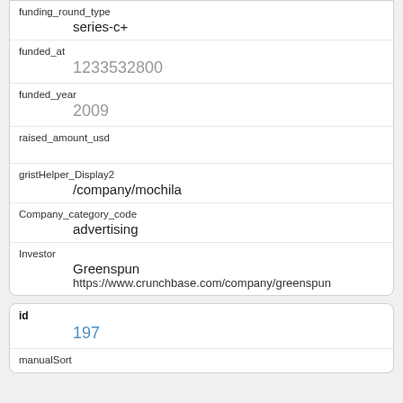| Field | Value |
| --- | --- |
| funding_round_type | series-c+ |
| funded_at | 1233532800 |
| funded_year | 2009 |
| raised_amount_usd |  |
| gristHelper_Display2 | /company/mochila |
| Company_category_code | advertising |
| Investor | Greenspun
https://www.crunchbase.com/company/greenspun |
| Field | Value |
| --- | --- |
| id | 197 |
| manualSort |  |